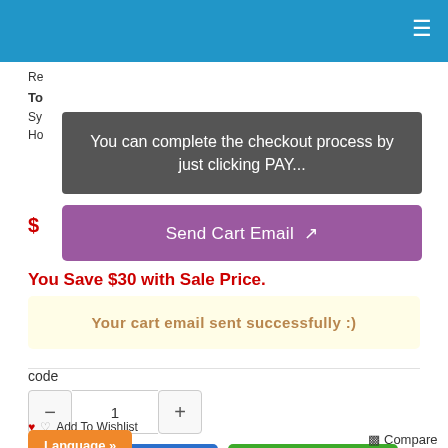≡
You can complete the checkout process by just clicking PAY...
Re
To
Sy
Ho
$ Send Cart Email
You Save $30 with Sale Price.
Your cart email sent successfully :)
code
1
ADD TO CART
BUY NOW
Add To Wishlist
Language »
Compare